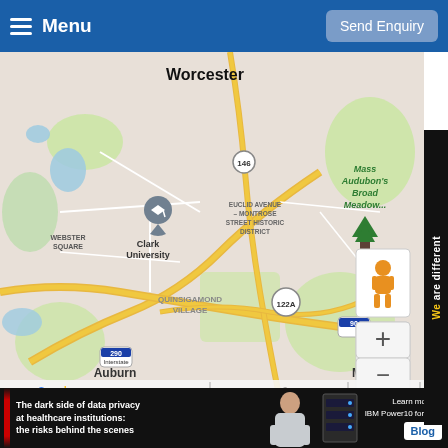Menu | Send Enquiry
[Figure (map): Google Maps screenshot showing Worcester, MA area including Clark University, Webster Square, Quinsigamond Village, Auburn, Millbury, Mass Audubon's Broad Meadow Brook, with route markers for I-290, I-90, Route 146, Route 122A, and Route 2. Map includes a Street View pegman icon and zoom +/- controls. Map data ©2022 Google. Keyboard shortcuts and Terms of Use links visible at bottom.]
We are different
∨
The dark side of data privacy at healthcare institutions: the risks behind the scenes
Learn more at IBM Power10 for Epic Blog